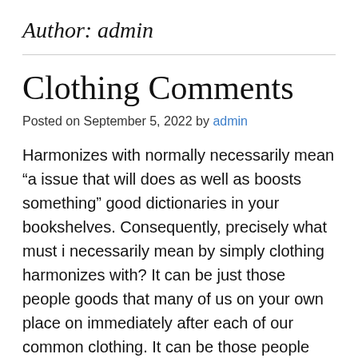Author: admin
Clothing Comments
Posted on September 5, 2022 by admin
Harmonizes with normally necessarily mean “a issue that will does as well as boosts something” good dictionaries in your bookshelves. Consequently, precisely what must i necessarily mean by simply clothing harmonizes with? It can be just those people goods that many of us on your own place on immediately after each of our common clothing. It can be those people goods that could separate the exact same twins babies about the same clothing. In addition, clothing harmonizes with are generally those people goods that go with your attempts involving manner